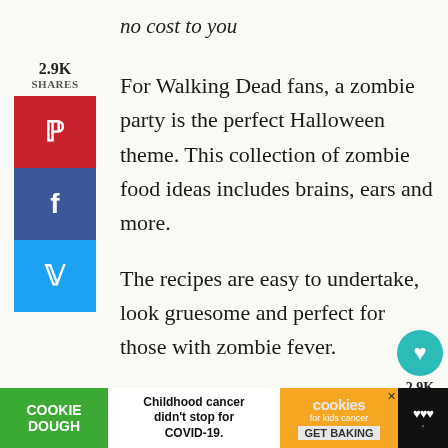no cost to you
For Walking Dead fans, a zombie party is the perfect Halloween theme. This collection of zombie food ideas includes brains, ears and more.
The recipes are easy to undertake, look gruesome and perfect for those with zombie fever.
[Figure (infographic): Social share sidebar with 2.9K shares label, Pinterest (red), Facebook (blue), Twitter (blue) buttons on left side. Heart/like button (teal) with 2.9K count and share button on right side.]
[Figure (infographic): Cookie Dough advertisement bar at bottom: green COOKIE DOUGH logo on left, white center with 'Childhood cancer didn't stop for COVID-19.', orange cookies for kids cancer section with GET BAKING button, dark logo area on right.]